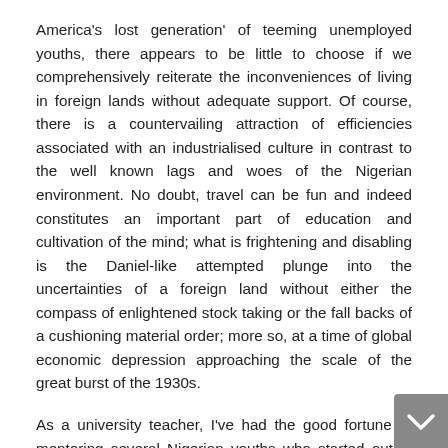America's lost generation' of teeming unemployed youths, there appears to be little to choose if we comprehensively reiterate the inconveniences of living in foreign lands without adequate support. Of course, there is a countervailing attraction of efficiencies associated with an industrialised culture in contrast to the well known lags and woes of the Nigerian environment. No doubt, travel can be fun and indeed constitutes an important part of education and cultivation of the mind; what is frightening and disabling is the Daniel-like attempted plunge into the uncertainties of a foreign land without either the compass of enlightened stock taking or the fall backs of a cushioning material order; more so, at a time of global economic depression approaching the scale of the great burst of the 1930s.
As a university teacher, I've had the good fortune of mentoring several Nigerian youths who started out in lowly circumstances but ended up doing very well for themselves. One of them for example, who started out as an office assistant, eventually advanced to a...